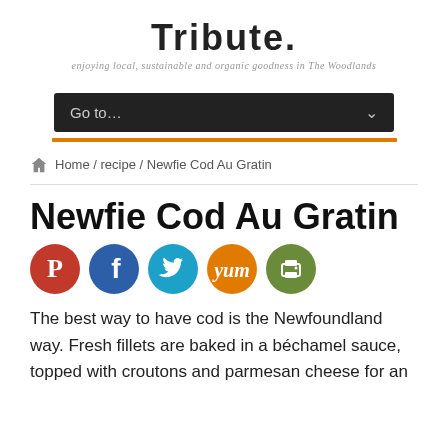TRIBUTE. enjoying local, sustainable and organic goodness in The Woodlands
[Figure (screenshot): Navigation dropdown bar with text 'Go to...' and chevron on dark background]
Home / recipe / Newfie Cod Au Gratin
Newfie Cod Au Gratin
[Figure (infographic): Social media share buttons: Pinterest (red), Facebook (blue), Twitter (light blue), Yummly (orange), Print (green)]
The best way to have cod is the Newfoundland way. Fresh fillets are baked in a béchamel sauce, topped with croutons and parmesan cheese for an